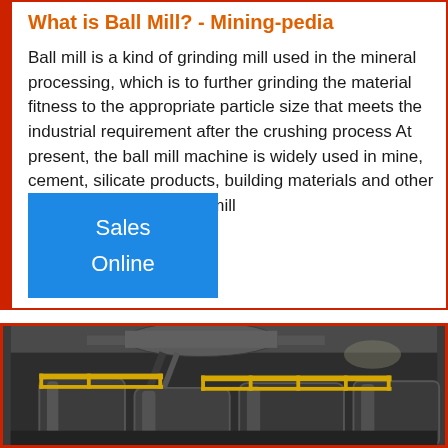What is Ball Mill? - Mining-pedia
Ball mill is a kind of grinding mill used in the mineral processing, which is to further grinding the material fitness to the appropriate particle size that meets the industrial requirement after the crushing process At present, the ball mill machine is widely used in mine, cement, silicate products, building materials and other fields 1 Structure of ball mill
[Figure (other): Blue button widget with text 'Sales Online']
[Figure (photo): Industrial photo of a ball mill facility showing large cylindrical drums with yellow safety railings and overhead piping, in grayscale/dark tones]